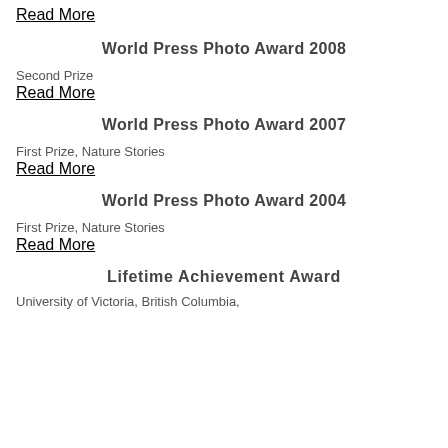Read More
World Press Photo Award 2008
Second Prize
Read More
World Press Photo Award 2007
First Prize, Nature Stories
Read More
World Press Photo Award 2004
First Prize, Nature Stories
Read More
Lifetime Achievement Award
University of Victoria, British Columbia,